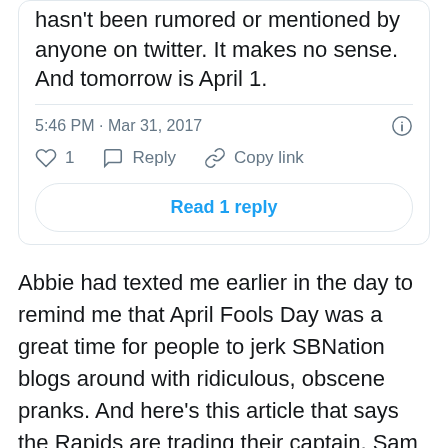hasn't been rumored or mentioned by anyone on twitter. It makes no sense. And tomorrow is April 1.
5:46 PM · Mar 31, 2017
1  Reply  Copy link
Read 1 reply
Abbie had texted me earlier in the day to remind me that April Fools Day was a great time for people to jerk SBNation blogs around with ridiculous, obscene pranks. And here's this article that says the Rapids are trading their captain, Sam Cronin and starting leftback, Marc Burch to Minnesota. And in exchange, they're going to get a non-descript midfielder, Mohammed Saeid, and a winger, Josh Gatt, that hasn't played